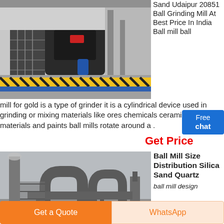[Figure (photo): Industrial ball grinding mill machine in a factory setting, with stairs and blue/yellow safety markings on the floor.]
Sand Udaipur 20851 Ball Grinding Mill At Best Price In India Ball mill ball mill for gold is a type of grinder it is a cylindrical device used in grinding or mixing materials like ores chemicals ceramic raw materials and paints ball mills rotate around a .
Get Price
[Figure (photo): Industrial silica sand / quartz ball mill equipment outdoors, with large cylindrical pipes and industrial structures, grey sky background.]
Ball Mill Size Distribution Silica Sand Quartz
ball mill design
Get a Quote
WhatsApp